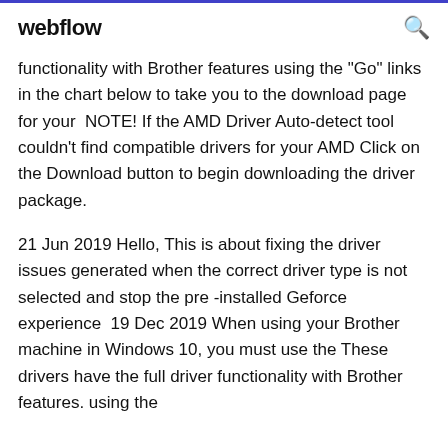webflow
functionality with Brother features using the "Go" links in the chart below to take you to the download page for your  NOTE! If the AMD Driver Auto-detect tool couldn't find compatible drivers for your AMD Click on the Download button to begin downloading the driver package.
21 Jun 2019 Hello, This is about fixing the driver issues generated when the correct driver type is not selected and stop the pre -installed Geforce experience  19 Dec 2019 When using your Brother machine in Windows 10, you must use the These drivers have the full driver functionality with Brother features. using the